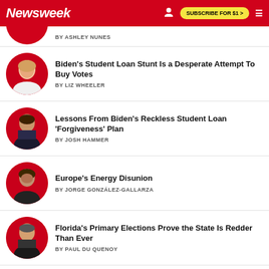Newsweek | SUBSCRIBE FOR $1 >
BY ASHLEY NUNES
Biden's Student Loan Stunt Is a Desperate Attempt To Buy Votes
BY LIZ WHEELER
Lessons From Biden's Reckless Student Loan 'Forgiveness' Plan
BY JOSH HAMMER
Europe's Energy Disunion
BY JORGE GONZÁLEZ-GALLARZA
Florida's Primary Elections Prove the State Is Redder Than Ever
BY PAUL DU QUENOY